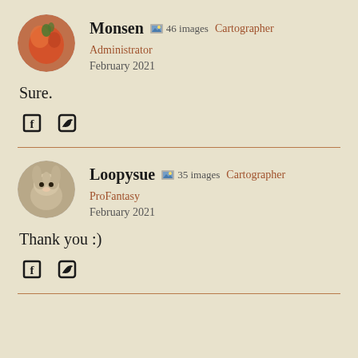[Figure (photo): Circular avatar of user Monsen showing a red floral or pepper image]
Monsen  🖼 46 images  Cartographer  Administrator
February 2021
Sure.
[Figure (other): Social share icons: Facebook and Twitter]
[Figure (photo): Circular avatar of user Loopysue showing a small brown mouse]
Loopysue  🖼 35 images  Cartographer  ProFantasy
February 2021
Thank you :)
[Figure (other): Social share icons: Facebook and Twitter]